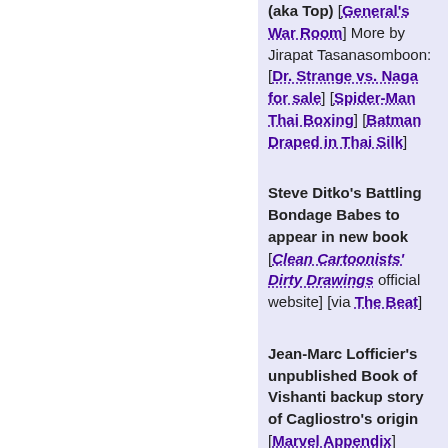(aka Top) [General's War Room] More by Jirapat Tasanasomboon: [Dr. Strange vs. Naga for sale] [Spider-Man Thai Boxing] [Batman Draped in Thai Silk]
Steve Ditko's Battling Bondage Babes to appear in new book [Clean Cartoonists' Dirty Drawings official website] [via The Beat]
Jean-Marc Lofficier's unpublished Book of Vishanti backup story of Cagliostro's origin [Marvel Appendix]